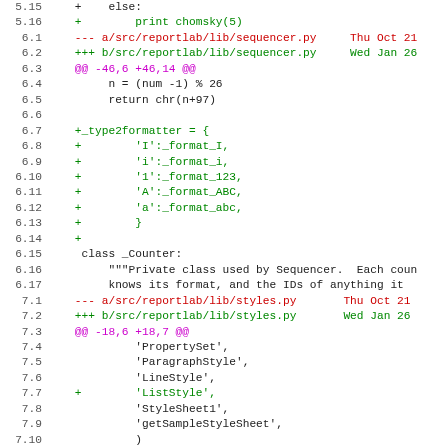[Figure (screenshot): A unified diff view showing code changes to reportlab Python source files, with line numbers on the left and colored diff syntax (red for removed lines, green for added lines, magenta for hunk headers, black for context lines).]